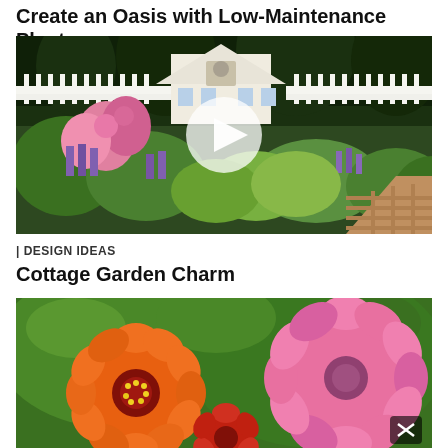Create an Oasis with Low-Maintenance Plants
[Figure (photo): Garden photo showing a white cottage with white picket fence, cottage garden with pink roses, purple salvia, and green shrubs along a brick pathway, with a video play button overlay in the center]
| DESIGN IDEAS
Cottage Garden Charm
[Figure (photo): Close-up photo of bright orange and pink zinnia flowers with green foliage in the background, with an X close button in the bottom right corner]